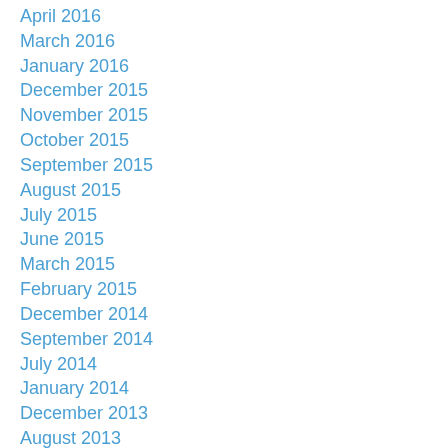April 2016
March 2016
January 2016
December 2015
November 2015
October 2015
September 2015
August 2015
July 2015
June 2015
March 2015
February 2015
December 2014
September 2014
July 2014
January 2014
December 2013
August 2013
April 2013
February 2013
January 2013